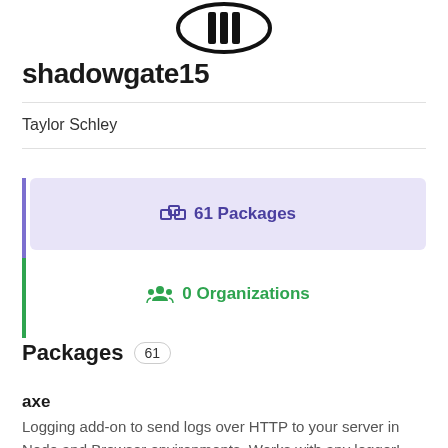[Figure (logo): Circular logo/avatar for shadowgate15 user, black and white design]
shadowgate15
Taylor Schley
61 Packages
0 Organizations
Packages 61
axe
Logging add-on to send logs over HTTP to your server in Node and Browser environments. Works with any logger!